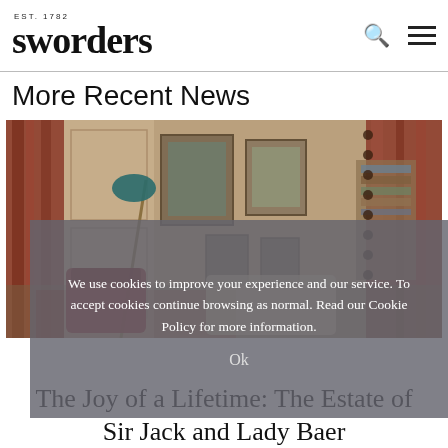EST. 1782
sworders
More Recent News
[Figure (photo): Interior room photograph showing a decorated living space with ornate red patterned curtains, framed artwork on walls, a floor lamp with teal shade, a red armchair, bookshelves, and a patterned rug.]
We use cookies to improve your experience and our service. To accept cookies continue browsing as normal. Read our Cookie Policy for more information.
Ok
The Joy of a Lifetime: The Estate of Sir Jack and Lady Baer